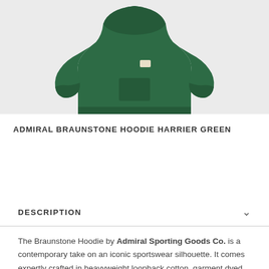[Figure (photo): Green Admiral Braunstone hoodie sweatshirt photographed from above on a light grey background, showing the front with a small chest pocket and ribbed cuffs and hem.]
ADMIRAL BRAUNSTONE HOODIE HARRIER GREEN
DESCRIPTION
The Braunstone Hoodie by Admiral Sporting Goods Co. is a contemporary take on an iconic sportswear silhouette. It comes expertly crafted in heavyweight loopback cotton, garment dyed and pre-shrunk for an assured fit, with cover-stitched seams throughout and 2x2 rib hems. A V-notch detail sits below the neck and the hood